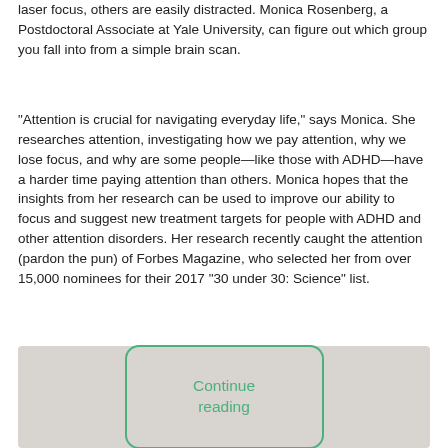laser focus, others are easily distracted. Monica Rosenberg, a Postdoctoral Associate at Yale University, can figure out which group you fall into from a simple brain scan.
“Attention is crucial for navigating everyday life,” says Monica. She researches attention, investigating how we pay attention, why we lose focus, and why are some people—like those with ADHD—have a harder time paying attention than others. Monica hopes that the insights from her research can be used to improve our ability to focus and suggest new treatment targets for people with ADHD and other attention disorders. Her research recently caught the attention (pardon the pun) of Forbes Magazine, who selected her from over 15,000 nominees for their 2017 “30 under 30: Science” list.
[Figure (other): Gray background area with a green-bordered rounded rectangle button labeled 'Continue reading']